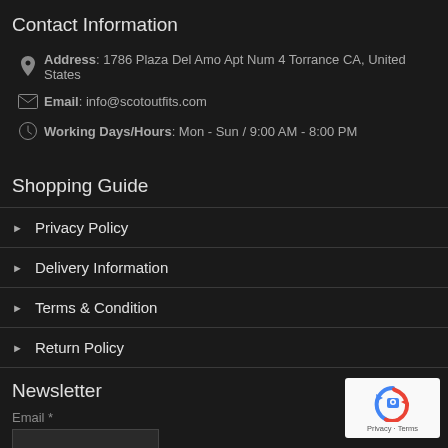Contact Information
Address: 1786 Plaza Del Amo Apt Num 4 Torrance CA, United States
Email: info@scotoutfits.com
Working Days/Hours: Mon - Sun / 9:00 AM - 8:00 PM
Shopping Guide
Privacy Policy
Delivery Information
Terms & Condition
Return Policy
Newsletter
Email *
[Figure (other): reCAPTCHA badge with recycle arrow icon and Privacy - Terms text]